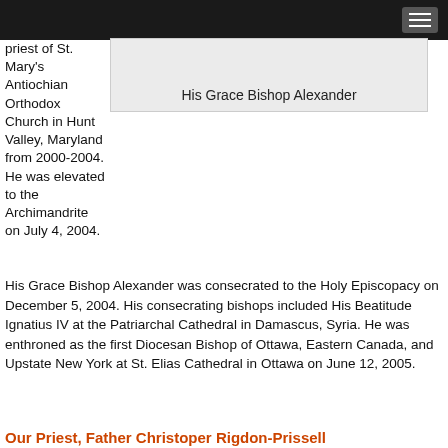[Figure (photo): Photo of His Grace Bishop Alexander with caption below]
priest of St. Mary's Antiochian Orthodox Church in Hunt Valley, Maryland from 2000-2004. He was elevated to the Archimandrite on July 4, 2004.
His Grace Bishop Alexander was consecrated to the Holy Episcopacy on December 5, 2004. His consecrating bishops included His Beatitude Ignatius IV at the Patriarchal Cathedral in Damascus, Syria. He was enthroned as the first Diocesan Bishop of Ottawa, Eastern Canada, and Upstate New York at St. Elias Cathedral in Ottawa on June 12, 2005.
Our Priest, Father Christoper Rigdon-Prissell